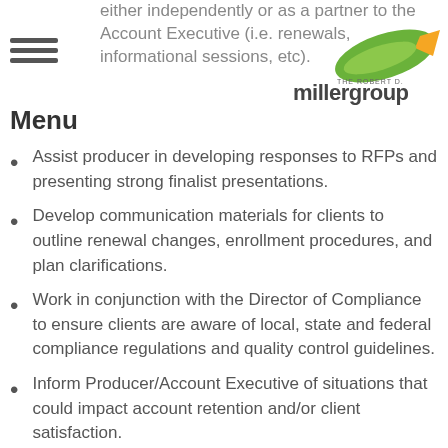either independently or as a partner to the Account Executive (i.e. renewals, informational sessions, etc).
[Figure (logo): The Robert D. Miller Group logo with green and orange swoosh fish design and 'millergroup' text]
Assist producer in developing responses to RFPs and presenting strong finalist presentations.
Develop communication materials for clients to outline renewal changes, enrollment procedures, and plan clarifications.
Work in conjunction with the Director of Compliance to ensure clients are aware of local, state and federal compliance regulations and quality control guidelines.
Inform Producer/Account Executive of situations that could impact account retention and/or client satisfaction.